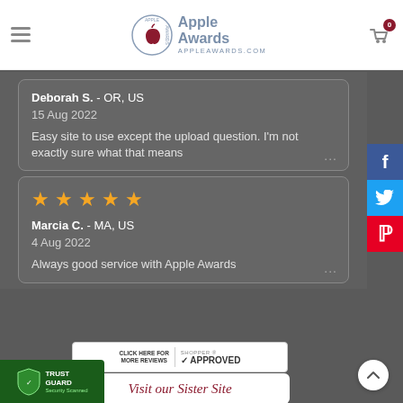[Figure (logo): Apple Awards logo with apple icon and text 'Apple Awards APPLEAWARDS.COM']
Deborah S.  - OR, US
15 Aug 2022
Easy site to use except the upload question. I'm not exactly sure what that means
[Figure (other): 5 orange star rating icons]
Marcia C.  - MA, US
4 Aug 2022
Always good service with Apple Awards
[Figure (other): Shopper Approved badge - CLICK HERE FOR MORE REVIEWS]
Visit our Sister Site
[Figure (logo): Trust Guard Security Scanned badge]